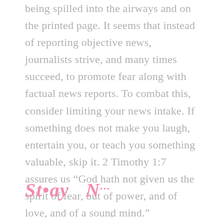being spilled into the airways and on the printed page. It seems that instead of reporting objective news, journalists strive, and many times succeed, to promote fear along with factual news reports. To combat this, consider limiting your news intake. If something does not make you laugh, entertain you, or teach you something valuable, skip it. 2 Timothy 1:7 assures us “God hath not given us the spirit of fear, but of power, and of love, and of a sound mind.”
Stäy N...
v